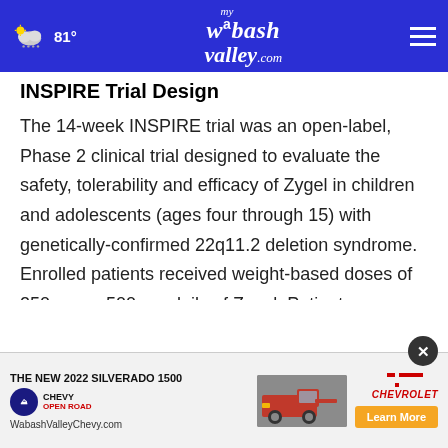81° mywabashvalley.com
INSPIRE Trial Design
The 14-week INSPIRE trial was an open-label, Phase 2 clinical trial designed to evaluate the safety, tolerability and efficacy of Zygel in children and adolescents (ages four through 15) with genetically-confirmed 22q11.2 deletion syndrome. Enrolled patients received weight-based doses of 250 mg or 500 mg daily of Zygel. Patients were allowed to increase the daily dose after [ad overlay] 750 mg if the investigator felt such increase was
[Figure (screenshot): Advertisement banner for The New 2022 Silverado 1500 from Chevy Open Road, with WabashValleyChevy.com URL and Learn More button, with a red truck image and Chevrolet logo. A close (X) button appears in the top-right of the ad.]